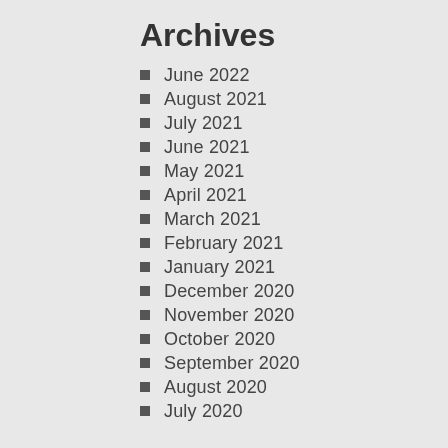Archives
June 2022
August 2021
July 2021
June 2021
May 2021
April 2021
March 2021
February 2021
January 2021
December 2020
November 2020
October 2020
September 2020
August 2020
July 2020